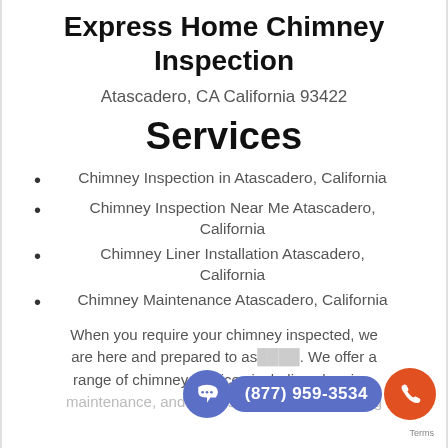Express Home Chimney Inspection
Atascadero, CA California 93422
Services
Chimney Inspection in Atascadero, California
Chimney Inspection Near Me Atascadero, California
Chimney Liner Installation Atascadero, California
Chimney Maintenance Atascadero, California
When you require your chimney inspected, we are here and prepared to assist. We offer a range of chimney services including cleaning, maintenance, and repairs. Simply give us a ring